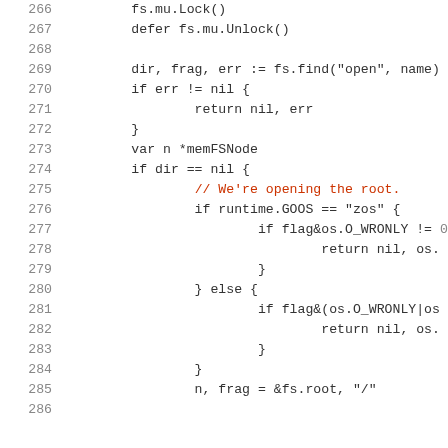Code listing lines 266-286: Go source code showing file system open logic with mutex locking, directory finding, root handling for zos and other platforms.